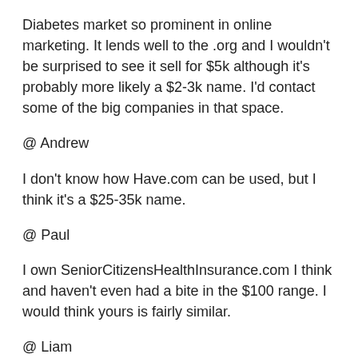Diabetes market so prominent in online marketing. It lends well to the .org and I wouldn't be surprised to see it sell for $5k although it's probably more likely a $2-3k name. I'd contact some of the big companies in that space.
@ Andrew
I don't know how Have.com can be used, but I think it's a $25-35k name.
@ Paul
I own SeniorCitizensHealthInsurance.com I think and haven't even had a bite in the $100 range. I would think yours is fairly similar.
@ Liam